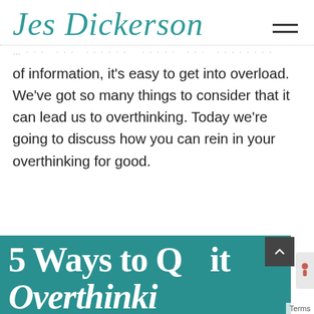Jes Dickerson
… in our modern society, with so many sources of information, it's easy to get into overload. We've got so many things to consider that it can lead us to overthinking. Today we're going to discuss how you can rein in your overthinking for good.
[Figure (illustration): Teal banner image with white bold text reading '5 Ways to Quit Overthinking']